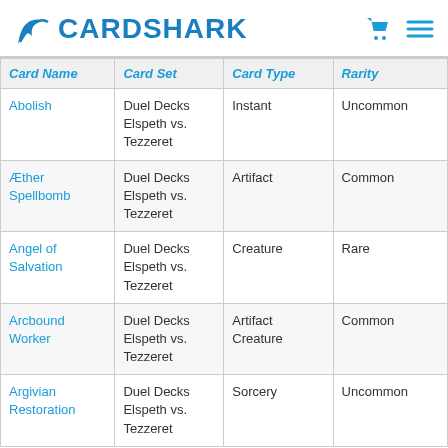CARDSHARK
| Card Name | Card Set | Card Type | Rarity |
| --- | --- | --- | --- |
| Abolish | Duel Decks Elspeth vs. Tezzeret | Instant | Uncommon |
| Æther Spellbomb | Duel Decks Elspeth vs. Tezzeret | Artifact | Common |
| Angel of Salvation | Duel Decks Elspeth vs. Tezzeret | Creature | Rare |
| Arcbound Worker | Duel Decks Elspeth vs. Tezzeret | Artifact Creature | Common |
| Argivian Restoration | Duel Decks Elspeth vs. Tezzeret | Sorcery | Uncommon |